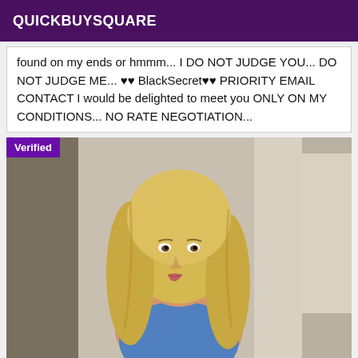QUICKBUYSQUARE
found on my ends or hmmm... I DO NOT JUDGE YOU... DO NOT JUDGE ME... ♥♥ BlackSecret♥♥ PRIORITY EMAIL CONTACT I would be delighted to meet you ONLY ON MY CONDITIONS... NO RATE NEGOTIATION...
[Figure (photo): Photo of a young blonde woman wearing a blue top, posed indoors near a window and column. A 'Verified' badge appears in the upper left corner of the image.]